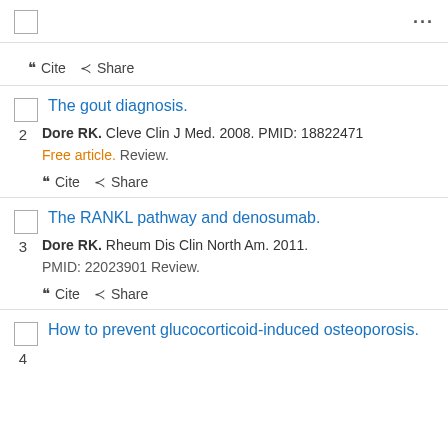... (menu icon area)
Cite  Share (action bar for previous entry)
2. The gout diagnosis. Dore RK. Cleve Clin J Med. 2008. PMID: 18822471 Free article. Review.
Cite  Share
3. The RANKL pathway and denosumab. Dore RK. Rheum Dis Clin North Am. 2011. PMID: 22023901 Review.
Cite  Share
4. How to prevent glucocorticoid-induced osteoporosis.